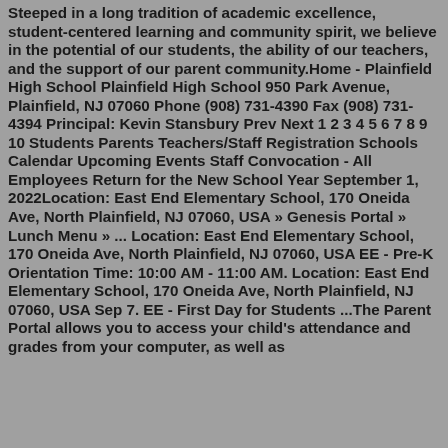Steeped in a long tradition of academic excellence, student-centered learning and community spirit, we believe in the potential of our students, the ability of our teachers, and the support of our parent community.Home - Plainfield High School Plainfield High School 950 Park Avenue, Plainfield, NJ 07060 Phone (908) 731-4390 Fax (908) 731-4394 Principal: Kevin Stansbury Prev Next 1 2 3 4 5 6 7 8 9 10 Students Parents Teachers/Staff Registration Schools Calendar Upcoming Events Staff Convocation - All Employees Return for the New School Year September 1, 2022Location: East End Elementary School, 170 Oneida Ave, North Plainfield, NJ 07060, USA » Genesis Portal » Lunch Menu » ... Location: East End Elementary School, 170 Oneida Ave, North Plainfield, NJ 07060, USA EE - Pre-K Orientation Time: 10:00 AM - 11:00 AM. Location: East End Elementary School, 170 Oneida Ave, North Plainfield, NJ 07060, USA Sep 7. EE - First Day for Students ...The Parent Portal allows you to access your child's attendance and grades from your computer, as well as